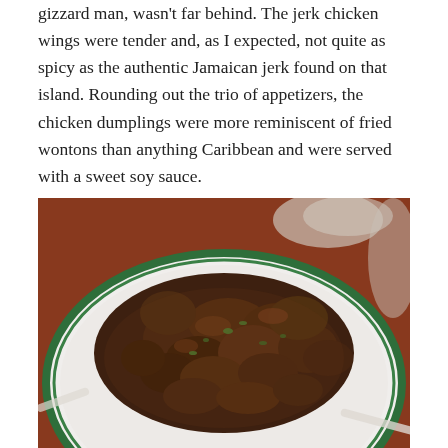gizzard man, wasn't far behind. The jerk chicken wings were tender and, as I expected, not quite as spicy as the authentic Jamaican jerk found on that island. Rounding out the trio of appetizers, the chicken dumplings were more reminiscent of fried wontons than anything Caribbean and were served with a sweet soy sauce.
[Figure (photo): A white plate with green rim stripe holding a large serving of jerk chicken gizzard pieces, dark brown and glossy with herbs, on a wooden table with other dishes partially visible.]